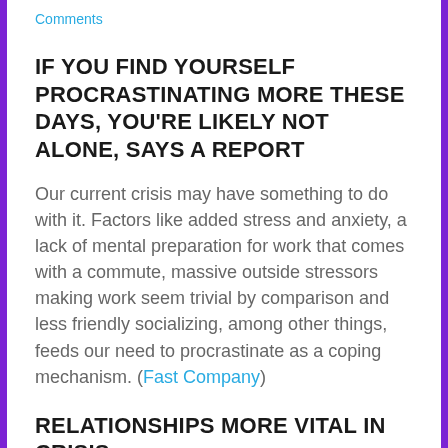Comments
IF YOU FIND YOURSELF PROCRASTINATING MORE THESE DAYS, YOU'RE LIKELY NOT ALONE, SAYS A REPORT
Our current crisis may have something to do with it. Factors like added stress and anxiety, a lack of mental preparation for work that comes with a commute, massive outside stressors making work seem trivial by comparison and less friendly socializing, among other things, feeds our need to procrastinate as a coping mechanism. (Fast Company)
RELATIONSHIPS MORE VITAL IN CRISIS